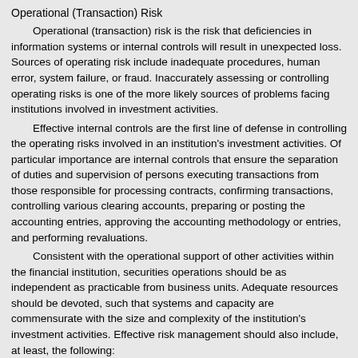Operational (Transaction) Risk
Operational (transaction) risk is the risk that deficiencies in information systems or internal controls will result in unexpected loss. Sources of operating risk include inadequate procedures, human error, system failure, or fraud. Inaccurately assessing or controlling operating risks is one of the more likely sources of problems facing institutions involved in investment activities.
Effective internal controls are the first line of defense in controlling the operating risks involved in an institution's investment activities. Of particular importance are internal controls that ensure the separation of duties and supervision of persons executing transactions from those responsible for processing contracts, confirming transactions, controlling various clearing accounts, preparing or posting the accounting entries, approving the accounting methodology or entries, and performing revaluations.
Consistent with the operational support of other activities within the financial institution, securities operations should be as independent as practicable from business units. Adequate resources should be devoted, such that systems and capacity are commensurate with the size and complexity of the institution's investment activities. Effective risk management should also include, at least, the following:
Valuation. Procedures should ensure independent portfolio pricing. For thinly traded or illiquid securities, completely independent pricing may be difficult. In such cases, operational units may need to use portfolio manager prices. For unique instruments where